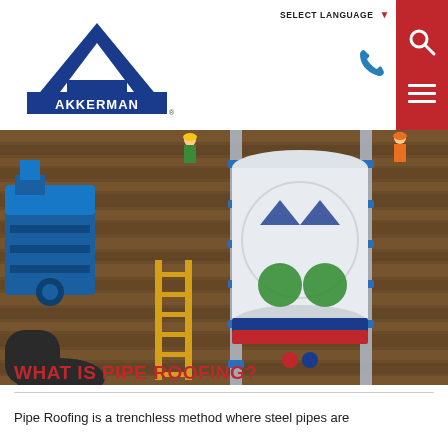SELECT LANGUAGE ▼ [Akkerman logo] [Phone icon] [Search icon] [Menu icon]
[Figure (photo): Aerial/top-down view of a construction pit showing a large white cylindrical pipe being lowered into an excavation. Workers in safety gear visible at the top. Blue machinery on the left side, pipes and ladders visible, wooden shoring around the excavation. Branding markings visible on the cylindrical pipe.]
WHAT IS PIPE ROOFING?
Pipe Roofing is a trenchless method where steel pipes are